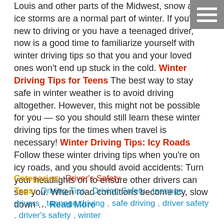Louis and other parts of the Midwest, snow and ice storms are a normal part of winter. If you're new to driving or you have a teenaged driver, now is a good time to familiarize yourself with winter driving tips so that you and your loved ones won't end up stuck in the cold. Winter Driving Tips for Teens The best way to stay safe in winter weather is to avoid driving altogether. However, this might not be possible for you — so you should still learn these winter driving tips for the times when travel is necessary! Winter Driving Tips: Icy Roads Follow these winter driving tips when you're on icy roads, and you should avoid accidents: Turn your headlights on to ensure other drivers can see you. When road conditions become icy, slow down … Read More
Categories: Driver's Safety
Tags: Driving Tips , Driving Safety , teenage drivers , teenage driving , safe driving , driver safety , driver's safety , winter